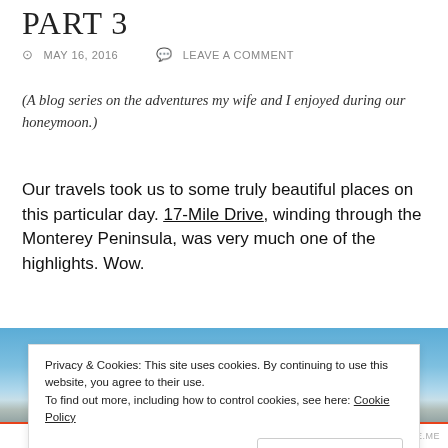PART 3
MAY 16, 2016   LEAVE A COMMENT
(A blog series on the adventures my wife and I enjoyed during our honeymoon.)
Our travels took us to some truly beautiful places on this particular day. 17-Mile Drive, winding through the Monterey Peninsula, was very much one of the highlights. Wow.
[Figure (photo): Outdoor scenic photo, likely coastal landscape with blue sky]
Privacy & Cookies: This site uses cookies. By continuing to use this website, you agree to their use.
To find out more, including how to control cookies, see here: Cookie Policy
Close and accept
AIRPORT-TIME.ME